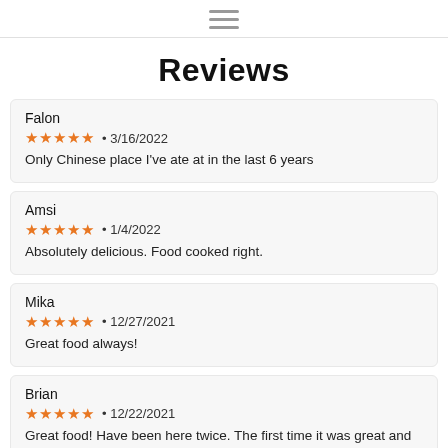[hamburger menu icon]
Reviews
Falon
★★★★★ • 3/16/2022
Only Chinese place I've ate at in the last 6 years
Amsi
★★★★★ • 1/4/2022
Absolutely delicious. Food cooked right.
Mika
★★★★★ • 12/27/2021
Great food always!
Brian
★★★★★ • 12/22/2021
Great food! Have been here twice. The first time it was great and the second time it was great!!
Julian
★★★★★ • 12/5/2021